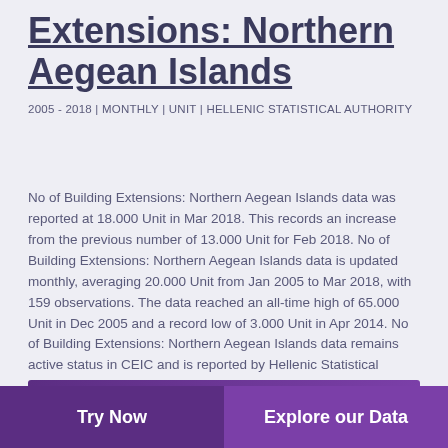Extensions: Northern Aegean Islands
2005 - 2018 | MONTHLY | UNIT | HELLENIC STATISTICAL AUTHORITY
No of Building Extensions: Northern Aegean Islands data was reported at 18.000 Unit in Mar 2018. This records an increase from the previous number of 13.000 Unit for Feb 2018. No of Building Extensions: Northern Aegean Islands data is updated monthly, averaging 20.000 Unit from Jan 2005 to Mar 2018, with 159 observations. The data reached an all-time high of 65.000 Unit in Dec 2005 and a record low of 3.000 Unit in Apr 2014. No of Building Extensions: Northern Aegean Islands data remains active status in CEIC and is reported by Hellenic Statistical Authority. The data is categorized under Global Database's Greece – Table GR.EB001: Number of Building Extensions: by Region.
Try Now | Explore our Data